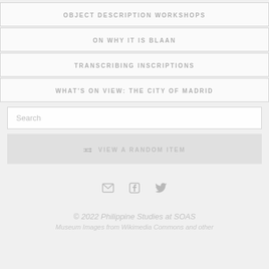OBJECT DESCRIPTION WORKSHOPS
ON WHY IT IS BLAAN
TRANSCRIBING INSCRIPTIONS
WHAT'S ON VIEW: THE CITY OF MADRID
Search
VIEW A RANDOM ITEM
[Figure (infographic): Social media icons: email, facebook, twitter]
© 2022 Philippine Studies at SOAS
Museum Images from Wikimedia Commons and other